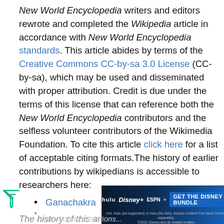New World Encyclopedia writers and editors rewrote and completed the Wikipedia article in accordance with New World Encyclopedia standards. This article abides by terms of the Creative Commons CC-by-sa 3.0 License (CC-by-sa), which may be used and disseminated with proper attribution. Credit is due under the terms of this license that can reference both the New World Encyclopedia contributors and the selfless volunteer contributors of the Wikimedia Foundation. To cite this article click here for a list of acceptable citing formats.The history of earlier contributions by wikipedians is accessible to researchers here:
Ganachakra  history
The history of this article since it was imported to New World E...
[Figure (other): Disney Bundle advertisement banner showing Hulu, Disney+, ESPN+ logos with 'GET THE DISNEY BUNDLE' call to action and fine print about subscription terms.]
Note: Some restrictions...